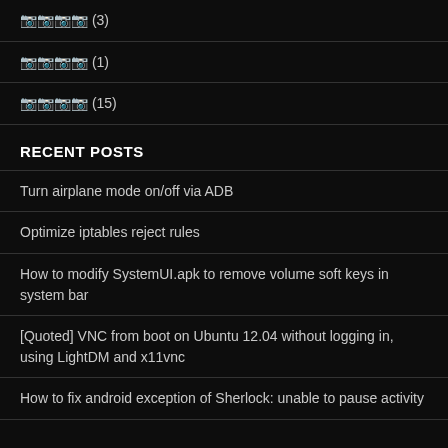囧囧囧囧 (3)
囧囧囧囧 (1)
囧囧囧囧 (15)
RECENT POSTS
Turn airplane mode on/off via ADB
Optimize iptables reject rules
How to modify SystemUI.apk to remove volume soft keys in system bar
[Quoted] VNC from boot on Ubuntu 12.04 without logging in, using LightDM and x11vnc
How to fix android exception of Sherlock: unable to pause activity